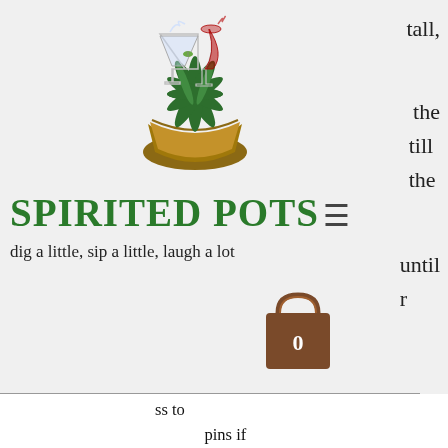[Figure (logo): Spirited Pots logo: a potted plant arrangement with cocktail glasses (martini and wine glass) and greenery in a wicker/coconut shell bowl]
SPIRITED POTS
dig a little, sip a little, laugh a lot
tall,
the till the
until r
[Figure (illustration): Shopping bag icon with number 0, brown color]
ss to pins if necessary. It’s okay to pin plants to each other.
Add large pine cone into planter per your design. Make slight hole and press down into soil – use to support taller plants if necessary.